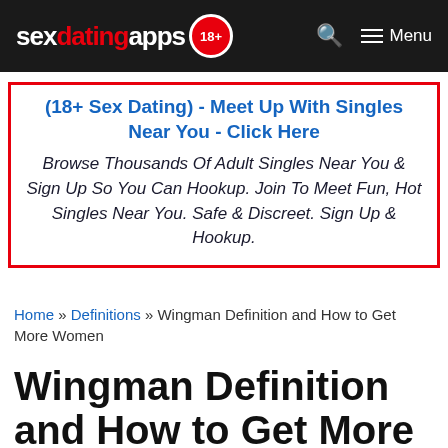sexdatingapps 18+ Menu
[Figure (other): Advertisement banner with red border. Heading: '(18+ Sex Dating) - Meet Up With Singles Near You - Click Here'. Body: 'Browse Thousands Of Adult Singles Near You & Sign Up So You Can Hookup. Join To Meet Fun, Hot Singles Near You. Safe & Discreet. Sign Up & Hookup.']
Home » Definitions » Wingman Definition and How to Get More Women
Wingman Definition and How to Get More Women